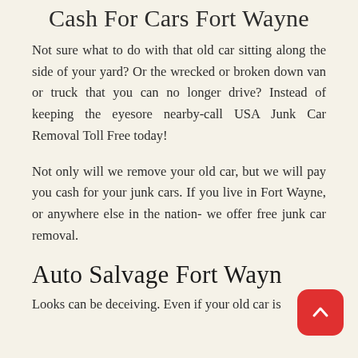Cash For Cars Fort Wayne
Not sure what to do with that old car sitting along the side of your yard? Or the wrecked or broken down van or truck that you can no longer drive? Instead of keeping the eyesore nearby-call USA Junk Car Removal Toll Free today!
Not only will we remove your old car, but we will pay you cash for your junk cars. If you live in Fort Wayne, or anywhere else in the nation- we offer free junk car removal.
Auto Salvage Fort Wayne
Looks can be deceiving. Even if your old car is